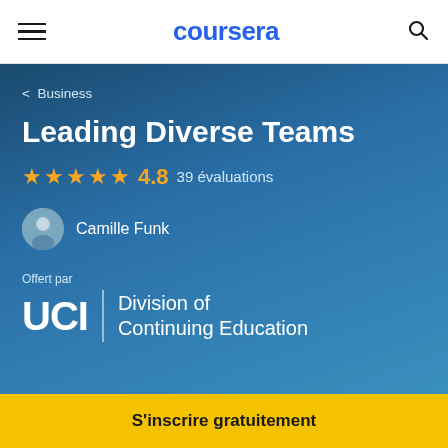coursera
< Business
Leading Diverse Teams
★★★★★ 4.8  39 évaluations
Camille Funk
Offert par
UCI Division of Continuing Education
S'inscrire gratuitement